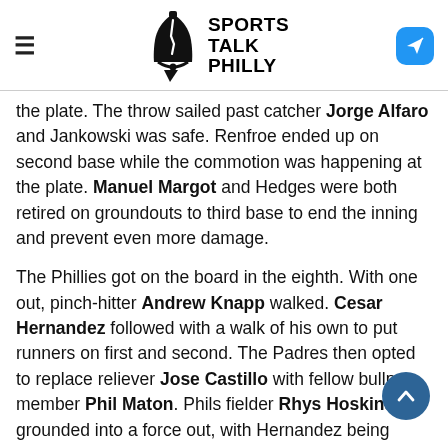Sports Talk Philly
the plate. The throw sailed past catcher Jorge Alfaro and Jankowski was safe. Renfroe ended up on second base while the commotion was happening at the plate. Manuel Margot and Hedges were both retired on groundouts to third base to end the inning and prevent even more damage.
The Phillies got on the board in the eighth. With one out, pinch-hitter Andrew Knapp walked. Cesar Hernandez followed with a walk of his own to put runners on first and second. The Padres then opted to replace reliever Jose Castillo with fellow bullpen member Phil Maton. Phils fielder Rhys Hoskins grounded into a force out, with Hernandez being retired at second. A wild throw past first base allowed Hoskins to reach safely and Knapp to score. When the confusion subsided, there was a runner on first